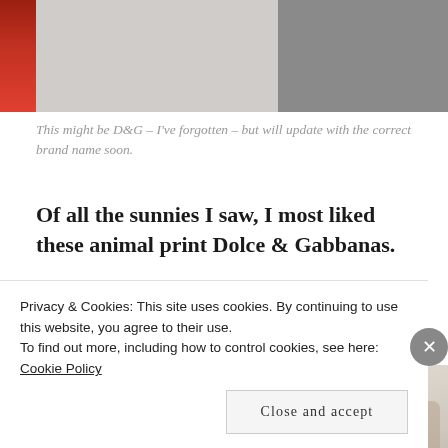[Figure (photo): Top portion of a photo showing a person in red top on the left, a pale/gray background in the center, and a darker gray area on the right.]
This might be D&G – I've forgotten – but will update with the correct brand name soon.
Of all the sunnies I saw, I most liked these animal print Dolce & Gabbanas.
[Figure (photo): Two side-by-side photos: left shows a blonde woman in a store/optician setting with other people in the background; right shows a pair of animal print Dolce & Gabbana sunglasses on a white surface.]
Privacy & Cookies: This site uses cookies. By continuing to use this website, you agree to their use.
To find out more, including how to control cookies, see here: Cookie Policy
Close and accept